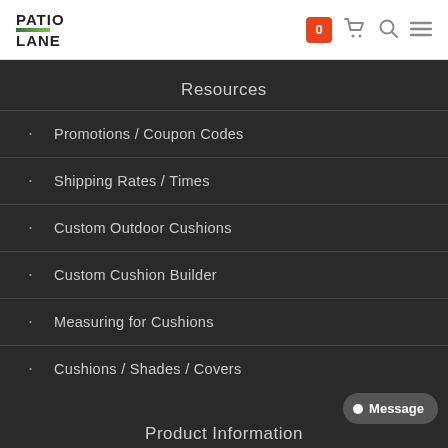PATIO LANE
Resources
Promotions / Coupon Codes
Shipping Rates / Times
Custom Outdoor Cushions
Custom Cushion Builder
Measuring for Cushions
Cushions / Shades / Covers
Product Information